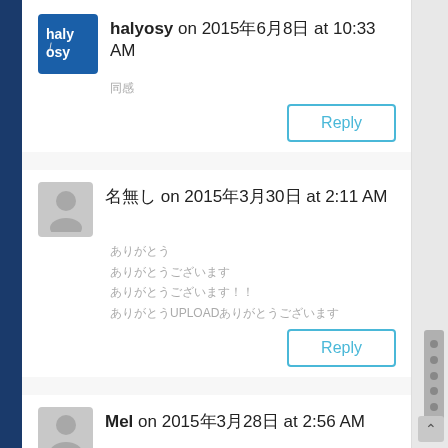[Figure (screenshot): Mobile web browser screenshot showing blog comments section with scrollbar on right side and dark blue browser chrome on left. Three comments visible with Reply buttons.]
halyosy on 2015年6月8日 at 10:33 AM
同感
名無し on 2015年3月30日 at 2:11 AM
ありがとう
ありがとうございます
ありがとうございます！！
ありがとうUPLOADありがとうございます
Mel on 2015年3月28日 at 2:56 AM
ありがとうございます！！！！！！！！！
ありがとう…！